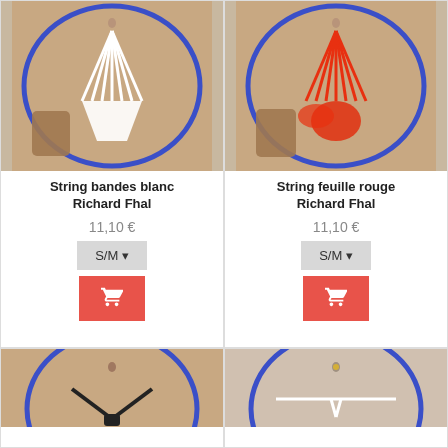[Figure (photo): Product photo of white string bandes lingerie with model inset, blue oval frame]
String bandes blanc Richard Fhal
11,10 €
[Figure (photo): Product photo of red string feuille lingerie with model inset, blue oval frame]
String feuille rouge Richard Fhal
11,10 €
[Figure (photo): Product photo of black lingerie with blue oval frame, partially visible]
[Figure (photo): Product photo of white lingerie with blue oval frame, partially visible]